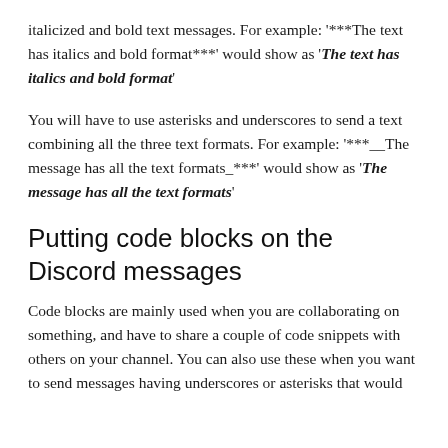italicized and bold text messages. For example: '***The text has italics and bold format***' would show as 'The text has italics and bold format'
You will have to use asterisks and underscores to send a text combining all the three text formats. For example: '***__The message has all the text formats_***' would show as 'The message has all the text formats'
Putting code blocks on the Discord messages
Code blocks are mainly used when you are collaborating on something, and have to share a couple of code snippets with others on your channel. You can also use these when you want to send messages having underscores or asterisks that would